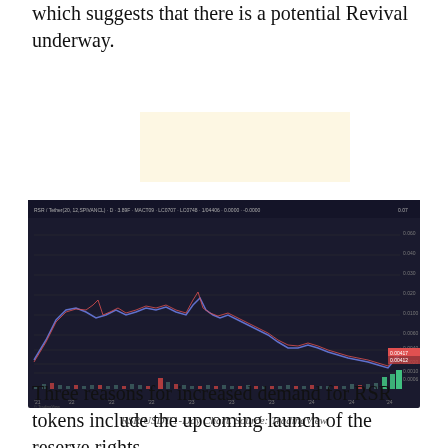which suggests that there is a potential Revival underway.
[Figure (other): Advertisement placeholder box with light yellow background]
[Figure (continuous-plot): RSR/USDT 1-Day candlestick and line chart from TradingView showing price history with volume bars at bottom. Price rises sharply to a peak, then declines over time with a small recent spike.]
RSR/USDT 1-Day Chart. Source: TradingView
Three reasons for increased demand for RSR tokens include the upcoming launch of the reserve rights